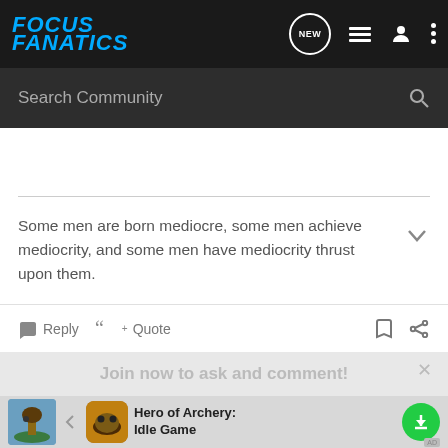FOCUS FANATICS
Search Community
Some men are born mediocre, some men achieve mediocrity, and some men have mediocrity thrust upon them.
Reply  Quote
Join now to ask and comment!
Continue with Facebook
[Figure (screenshot): Ad for Hero of Archery: Idle Game with game thumbnail, icon, title and download button]